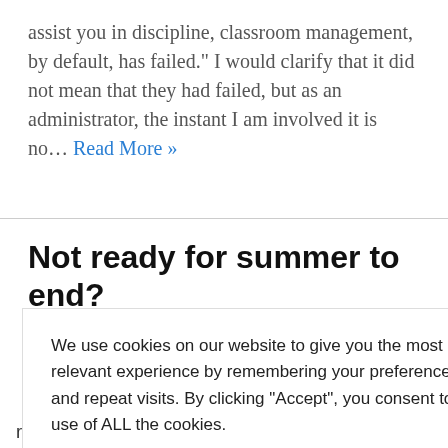assist you in discipline, classroom management, by default, has failed." I would clarify that it did not mean that they had failed, but as an administrator, the instant I am involved it is no… Read More »
Not ready for summer to end?
We use cookies on our website to give you the most relevant experience by remembering your preferences and repeat visits. By clicking "Accept", you consent to the use of ALL the cookies.
s, the summer flect, and ne to relax, re- s, and enjoy ave learned
recently is back-to-school time is not for everyone. I